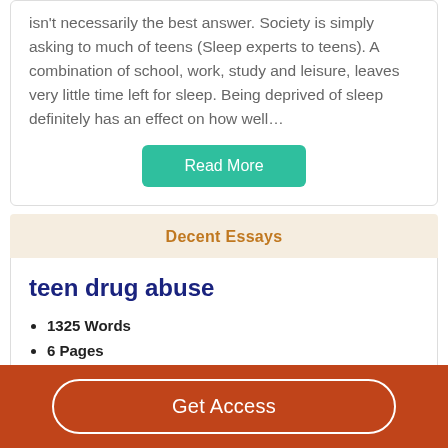isn't necessarily the best answer. Society is simply asking to much of teens (Sleep experts to teens). A combination of school, work, study and leisure, leaves very little time left for sleep. Being deprived of sleep definitely has an effect on how well…
Read More
Decent Essays
teen drug abuse
1325 Words
6 Pages
Get Access